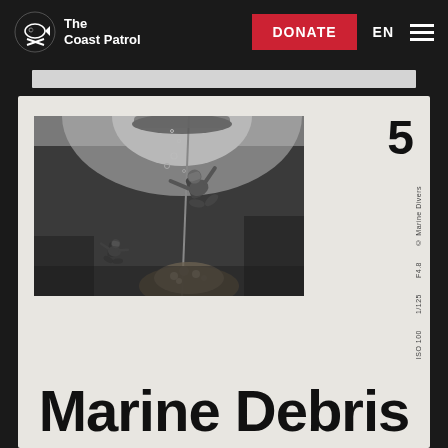The Coast Patrol — DONATE EN ☰
[Figure (photo): Black and white underwater photograph of scuba divers looking up toward the water surface, with light filtering through from above. A diver in full scuba gear is visible along with another diver in the background.]
5
Marine Debris